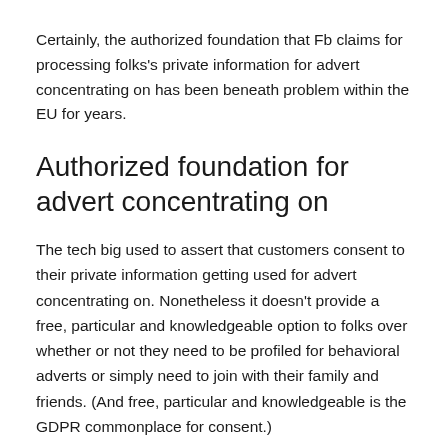Certainly, the authorized foundation that Fb claims for processing folks's private information for advert concentrating on has been beneath problem within the EU for years.
Authorized foundation for advert concentrating on
The tech big used to assert that customers consent to their private information getting used for advert concentrating on. Nonetheless it doesn't provide a free, particular and knowledgeable option to folks over whether or not they need to be profiled for behavioral adverts or simply need to join with their family and friends. (And free, particular and knowledgeable is the GDPR commonplace for consent.)